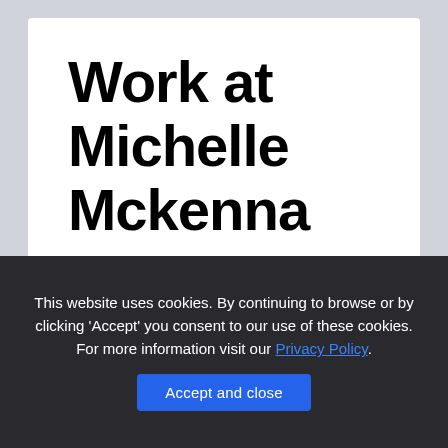Work at Michelle Mckenna
Work at Michelle Mckenna New York, NY 10022
This website uses cookies. By continuing to browse or by clicking 'Accept' you consent to our use of these cookies. For more information visit our Privacy Policy.